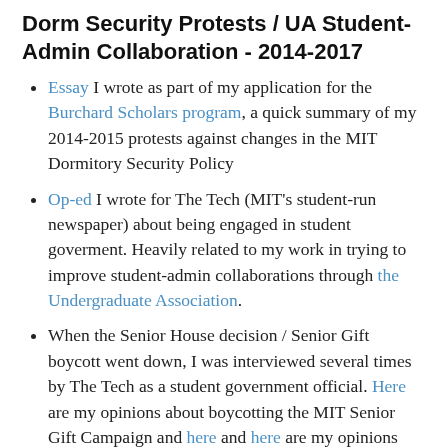Dorm Security Protests / UA Student-Admin Collaboration - 2014-2017
Essay I wrote as part of my application for the Burchard Scholars program, a quick summary of my 2014-2015 protests against changes in the MIT Dormitory Security Policy
Op-ed I wrote for The Tech (MIT's student-run newspaper) about being engaged in student goverment. Heavily related to my work in trying to improve student-admin collaborations through the Undergraduate Association.
When the Senior House decision / Senior Gift boycott went down, I was interviewed several times by The Tech as a student government official. Here are my opinions about boycotting the MIT Senior Gift Campaign and here and here are my opinions about closing Senior